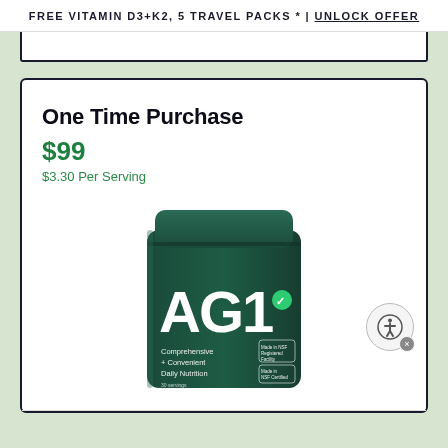FREE VITAMIN D3+K2, 5 TRAVEL PACKS * | UNLOCK OFFER
One Time Purchase
$99
$3.30 Per Serving
[Figure (photo): AG1 dark green branded supplement pouch with AG1 logo. Text on pouch reads: Comprehensive + Convenient Daily Nutrition. Made in NSF Certified Facility badge visible.]